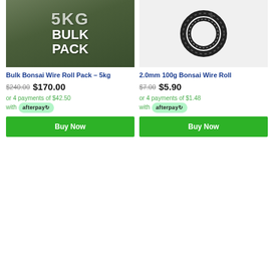[Figure (photo): Product image for Bulk Bonsai Wire Roll Pack 5kg — dark green background with large bold white text reading '5KG BULK PACK']
Bulk Bonsai Wire Roll Pack – 5kg
$240.00 $170.00
or 4 payments of $42.50 with afterpay
Buy Now
[Figure (photo): Product image for 2.0mm 100g Bonsai Wire Roll — white background showing a coiled black wire roll]
2.0mm 100g Bonsai Wire Roll
$7.00 $5.90
or 4 payments of $1.48 with afterpay
Buy Now